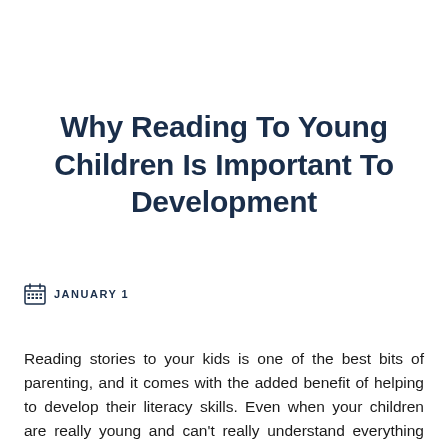Why Reading To Young Children Is Important To Development
JANUARY 1
Reading stories to your kids is one of the best bits of parenting, and it comes with the added benefit of helping to develop their literacy skills. Even when your children are really young and can't really understand everything you're saying, it's still